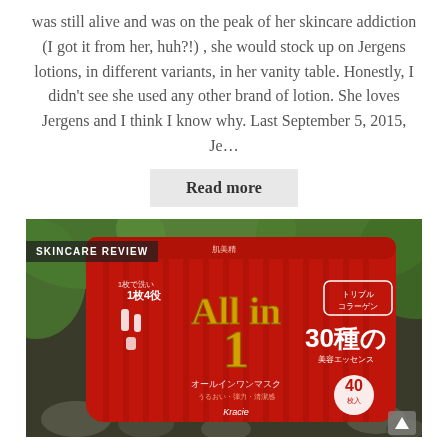was still alive and was on the peak of her skincare addiction (I got it from her, huh?!) , she would stock up on Jergens lotions, in different variants, in her vanity table. Honestly, I didn't see she used any other brand of lotion. She loves Jergens and I think I know why. Last September 5, 2015, Je…
Read more
[Figure (photo): A red resealable bag of Kracie 'All in 1' face mask product (40 sheets) featuring Japanese text, placed on rocks with green leaves in the background. A 'SKINCARE REVIEW' badge overlays the top-left corner.]
Kracie's All in One Facial…